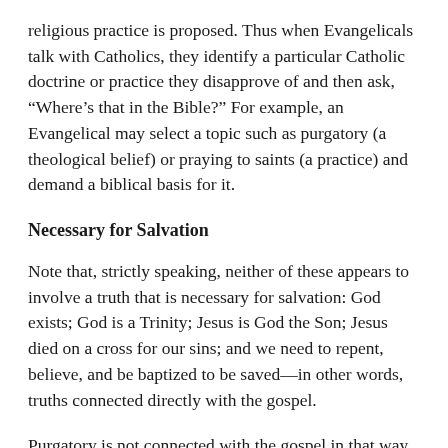religious practice is proposed. Thus when Evangelicals talk with Catholics, they identify a particular Catholic doctrine or practice they disapprove of and then ask, “Where’s that in the Bible?” For example, an Evangelical may select a topic such as purgatory (a theological belief) or praying to saints (a practice) and demand a biblical basis for it.
Necessary for Salvation
Note that, strictly speaking, neither of these appears to involve a truth that is necessary for salvation: God exists; God is a Trinity; Jesus is God the Son; Jesus died on a cross for our sins; and we need to repent, believe, and be baptized to be saved—in other words, truths connected directly with the gospel.
Purgatory is not connected with the gospel in that way. Neither is praying to saints. A Protestant asking for biblical bases for these would seem to be using a more expansive understanding of sola scriptura than just the idea that